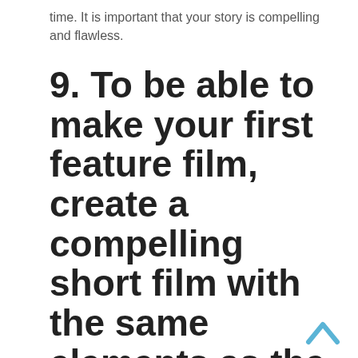time. It is important that your story is compelling and flawless.
9. To be able to make your first feature film, create a compelling short film with the same elements as the feature film you are looking for